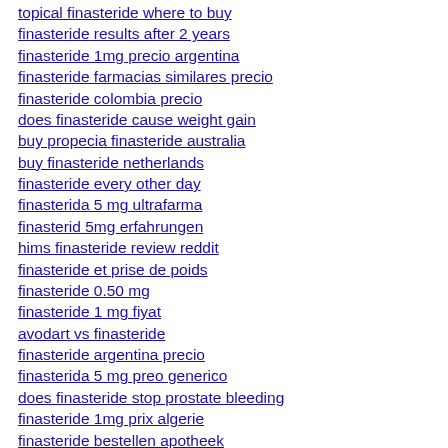topical finasteride where to buy
finasteride results after 2 years
finasteride 1mg precio argentina
finasteride farmacias similares precio
finasteride colombia precio
does finasteride cause weight gain
buy propecia finasteride australia
buy finasteride netherlands
finasteride every other day
finasterida 5 mg ultrafarma
finasterid 5mg erfahrungen
hims finasteride review reddit
finasteride et prise de poids
finasteride 0.50 mg
finasteride 1 mg fiyat
avodart vs finasteride
finasteride argentina precio
finasterida 5 mg preo generico
does finasteride stop prostate bleeding
finasteride 1mg prix algerie
finasteride bestellen apotheek
buy finasteride 1mg tablet
topical finasteride hair loss forum
finasteride 1mg indications
precio del finasteride